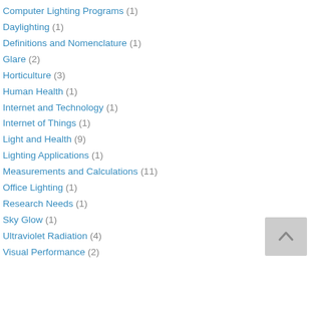Computer Lighting Programs (1)
Daylighting (1)
Definitions and Nomenclature (1)
Glare (2)
Horticulture (3)
Human Health (1)
Internet and Technology (1)
Internet of Things (1)
Light and Health (9)
Lighting Applications (1)
Measurements and Calculations (11)
Office Lighting (1)
Research Needs (1)
Sky Glow (1)
Ultraviolet Radiation (4)
Visual Performance (2)